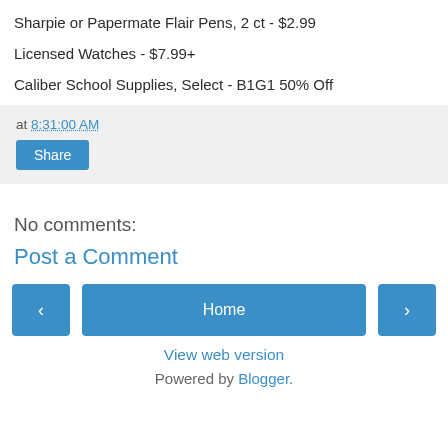Sharpie or Papermate Flair Pens, 2 ct - $2.99
Licensed Watches - $7.99+
Caliber School Supplies, Select - B1G1 50% Off
at 8:31:00 AM
Share
No comments:
Post a Comment
Home
View web version
Powered by Blogger.